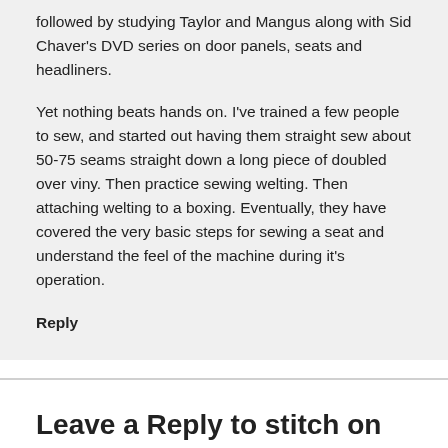followed by studying Taylor and Mangus along with Sid Chaver's DVD series on door panels, seats and headliners.
Yet nothing beats hands on. I've trained a few people to sew, and started out having them straight sew about 50-75 seams straight down a long piece of doubled over viny. Then practice sewing welting. Then attaching welting to a boxing. Eventually, they have covered the very basic steps for sewing a seat and understand the feel of the machine during it's operation.
Reply
Leave a Reply to stitch on sews a